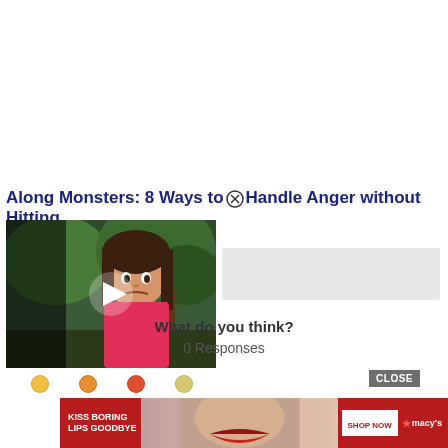Along Monsters: 8 Ways to Handle Anger without Hitting
[Figure (screenshot): Video thumbnail showing a young girl with dark hair pulled back, looking angry, outdoors with green trees in background. White play button triangle overlay in center. Close/X circle icon at top right of title area.]
What do you think?
0 Responses
[Figure (screenshot): CLOSE button (gray rectangle) and emoji reaction icons row below. Ad banner at bottom: red background with 'KISS BORING LIPS GOODBYE' text on left, woman's face in center, 'SHOP NOW' button and Macy's star logo on right.]